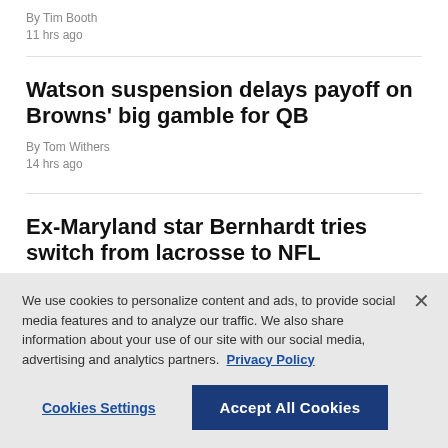By Tim Booth
11 hrs ago
Watson suspension delays payoff on Browns' big gamble for QB
By Tom Withers
14 hrs ago
Ex-Maryland star Bernhardt tries switch from lacrosse to NFL
By Paul Newberry
16 hrs ago
We use cookies to personalize content and ads, to provide social media features and to analyze our traffic. We also share information about your use of our site with our social media, advertising and analytics partners. Privacy Policy
Cookies Settings
Accept All Cookies